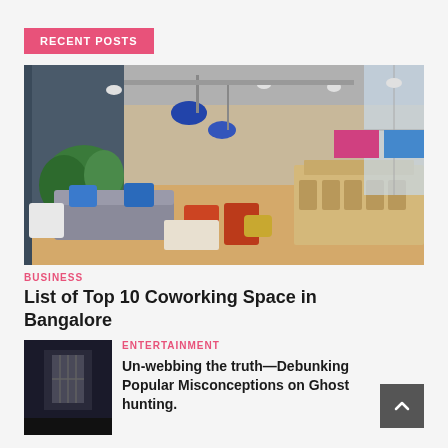RECENT POSTS
[Figure (photo): Interior of a modern coworking space with blue pendant lights, grey sofas with blue cushions, orange chairs, wooden tables, and large windows]
BUSINESS
List of Top 10 Coworking Space in Bangalore
[Figure (photo): Dark moody interior photo, possibly a room with window light]
ENTERTAINMENT
Un-webbing the truth—Debunking Popular Misconceptions on Ghost hunting.